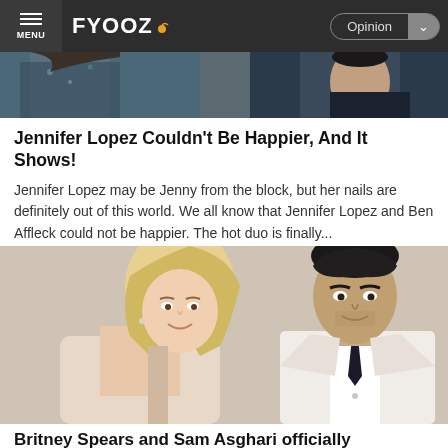FYOOZ | Opinion
[Figure (photo): Top cropped photo of two celebrities (Jennifer Lopez area), showing partial faces/bodies with blue and dark clothing]
Jennifer Lopez Couldn't Be Happier, And It Shows!
Jennifer Lopez may be Jenny from the block, but her nails are definitely out of this world. We all know that Jennifer Lopez and Ben Affleck could not be happier. The hot duo is finally...
[Figure (photo): Photo of Britney Spears and Sam Asghari posing together. Britney is a blonde woman and Sam is a dark-haired man in a suit with a tie.]
Britney Spears and Sam Asghari officially